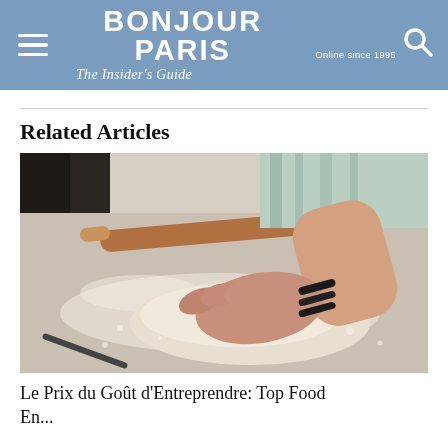BONJOUR PARIS — The Insider's Guide — Online since 1995
Related Articles
[Figure (photo): Close-up photograph of hands kneading bread dough on a floured surface, with a wooden rolling pin in the background and a striped towel. The person wears black bracelets.]
Le Prix du Goût d'Entreprendre: Top Food Entrepreneurs in Paris